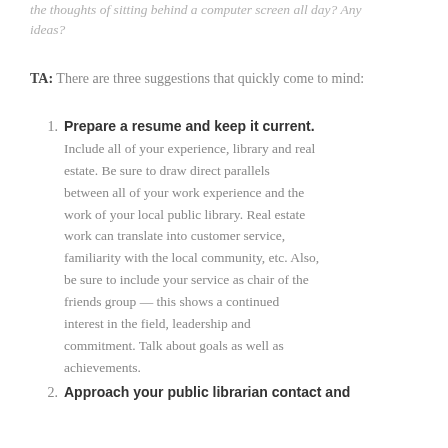the thoughts of sitting behind a computer screen all day? Any ideas?
TA: There are three suggestions that quickly come to mind:
1. Prepare a resume and keep it current. Include all of your experience, library and real estate. Be sure to draw direct parallels between all of your work experience and the work of your local public library. Real estate work can translate into customer service, familiarity with the local community, etc. Also, be sure to include your service as chair of the friends group — this shows a continued interest in the field, leadership and commitment. Talk about goals as well as achievements.
2. Approach your public librarian contact and